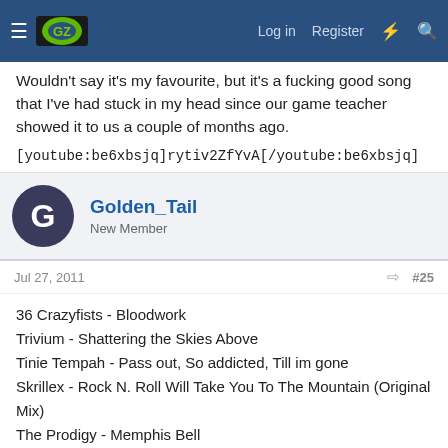GZ forum header with logo, Log in, Register, and search icons
Wouldn't say it's my favourite, but it's a fucking good song that I've had stuck in my head since our game teacher showed it to us a couple of months ago.

[youtube:be6xbsjq]rytiv2ZfYvA[/youtube:be6xbsjq]
Golden_Tail
New Member
Jul 27, 2011  #25
36 Crazyfists - Bloodwork
Trivium - Shattering the Skies Above
Tinie Tempah - Pass out, So addicted, Till im gone
Skrillex - Rock N. Roll Will Take You To The Mountain (Original Mix)
The Prodigy - Memphis Bell